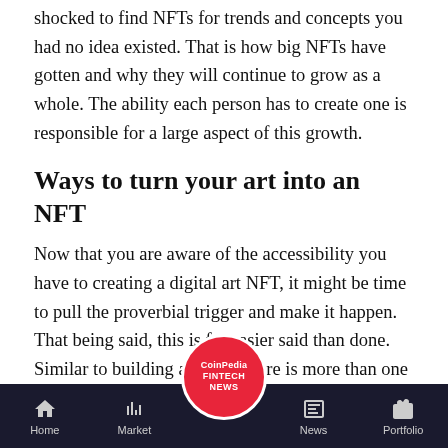shocked to find NFTs for trends and concepts you had no idea existed. That is how big NFTs have gotten and why they will continue to grow as a whole. The ability each person has to create one is responsible for a large aspect of this growth.
Ways to turn your art into an NFT
Now that you are aware of the accessibility you have to creating a digital art NFT, it might be time to pull the proverbial trigger and make it happen. That being said, this is far easier said than done. Similar to building a house, there is more than one way to create an NFT. Furthermore, the way in which it is created, affects everything from the actual functionality, to the price, listing options, or even appearance. Selecting your preferred way of turning art into an NFT requires some consideration and knowledge in order to ensure the final product is exactly as you
Home | Market | CoinPedia FINTECH NEWS | News | Portfolio